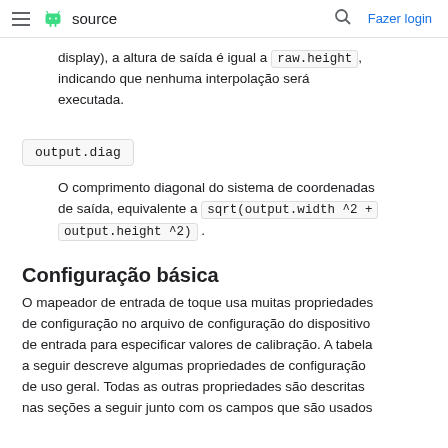≡ Android source  🔍 Fazer login
display), a altura de saída é igual a raw.height , indicando que nenhuma interpolação será executada.
output.diag
O comprimento diagonal do sistema de coordenadas de saída, equivalente a sqrt(output.width ^2 + output.height ^2) .
Configuração básica
O mapeador de entrada de toque usa muitas propriedades de configuração no arquivo de configuração do dispositivo de entrada para especificar valores de calibração. A tabela a seguir descreve algumas propriedades de configuração de uso geral. Todas as outras propriedades são descritas nas seções a seguir junto com os campos que são usados